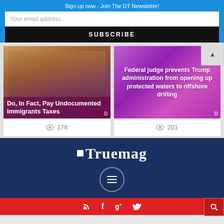Sign-up now - Join The DT Newsletter!
Your email address..
SUBSCRIBE
[Figure (screenshot): News card with photo of people, purple-toned overlay, title: Do, In Fact, Pay Undocumented Immigrants Taxes. View count: 178]
[Figure (screenshot): News card with purple/magenta background, title: Federal judge prevents Trump administration from opening up protected waters to offshore drilling. View count: 201]
178
201
[Figure (logo): Truemag logo in white on dark blue background with menu hamburger icon circle]
Red bottom bar with RSS, Facebook, Google+, Twitter icons and search button